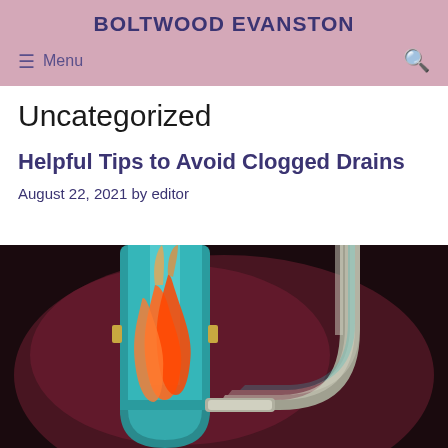BOLTWOOD EVANSTON
Menu
Uncategorized
Helpful Tips to Avoid Clogged Drains
August 22, 2021 by editor
[Figure (illustration): Illustration of a cross-section view of a U-bend drain pipe showing orange flame-like clog buildup inside a teal pipe, connected to a silver curved pipe on the right, against a dark maroon background.]